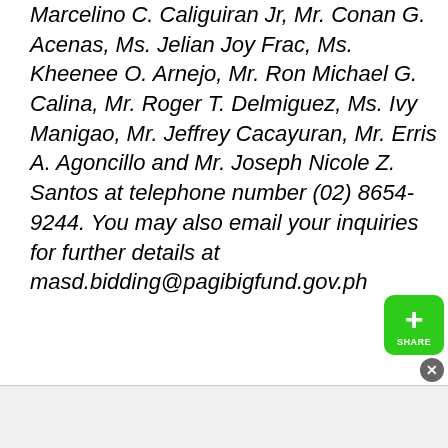Marcelino C. Caliguiran Jr, Mr. Conan G. Acenas, Ms. Jelian Joy Frac, Ms. Kheenee O. Arnejo, Mr. Ron Michael G. Calina, Mr. Roger T. Delmiguez, Ms. Ivy Manigao, Mr. Jeffrey Cacayuran, Mr. Erris A. Agoncillo and Mr. Joseph Nicole Z. Santos at telephone number (02) 8654-9244. You may also email your inquiries for further details at masd.bidding@pagibigfund.gov.ph